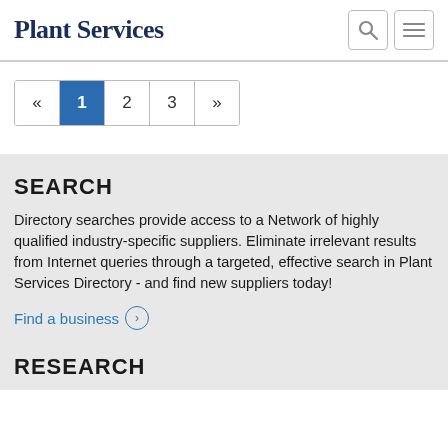Plant Services
« 1 2 3 »
SEARCH
Directory searches provide access to a Network of highly qualified industry-specific suppliers. Eliminate irrelevant results from Internet queries through a targeted, effective search in Plant Services Directory - and find new suppliers today!
Find a business ›
RESEARCH